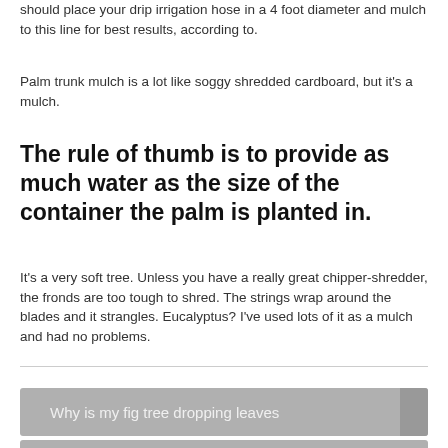should place your drip irrigation hose in a 4 foot diameter and mulch to this line for best results, according to.
Palm trunk mulch is a lot like soggy shredded cardboard, but it's a mulch.
The rule of thumb is to provide as much water as the size of the container the palm is planted in.
It's a very soft tree. Unless you have a really great chipper-shredder, the fronds are too tough to shred. The strings wrap around the blades and it strangles. Eucalyptus? I've used lots of it as a mulch and had no problems.
Why is my fig tree dropping leaves